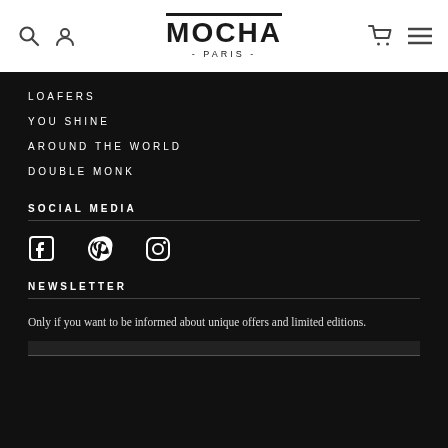MOCHA - PARIS -
LOAFERS
YOU SHINE
AROUND THE WORLD
DOUBLE MONK
SOCIAL MEDIA
[Figure (other): Social media icons: Facebook, Pinterest, Instagram]
NEWSLETTER
Only if you want to be informed about unique offers and limited editions.